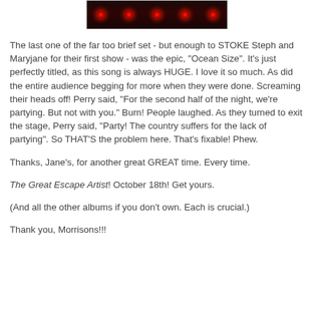[Figure (photo): Dark concert photo with red stage lights against black background]
The last one of the far too brief set - but enough to STOKE Steph and Maryjane for their first show - was the epic, "Ocean Size". It's just perfectly titled, as this song is always HUGE. I love it so much. As did the entire audience begging for more when they were done. Screaming their heads off! Perry said, "For the second half of the night, we're partying. But not with you." Burn! People laughed. As they turned to exit the stage, Perry said, "Party! The country suffers for the lack of partying". So THAT'S the problem here. That's fixable! Phew.
Thanks, Jane's, for another great GREAT time. Every time.
The Great Escape Artist! October 18th! Get yours.
(And all the other albums if you don't own. Each is crucial.)
Thank you, Morrisons!!!